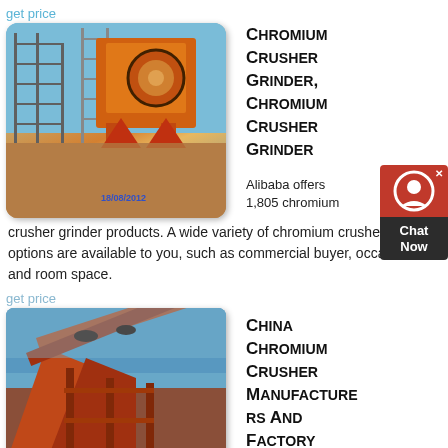get price
[Figure (photo): Industrial chromium crusher grinder machine at a construction/mining site with orange machinery and scaffolding, timestamp 18/08/2012]
Chromium Crusher Grinder, Chromium Crusher Grinder
Alibaba offers 1,805 chromium crusher grinder products. A wide variety of chromium crusher grinder options are available to you, such as commercial buyer, occasion, and room space.
get price
[Figure (photo): Industrial conveyor belt and red steel structure at a chromium processing or mining facility under blue sky]
China Chromium Crusher Manufacturers And Factory